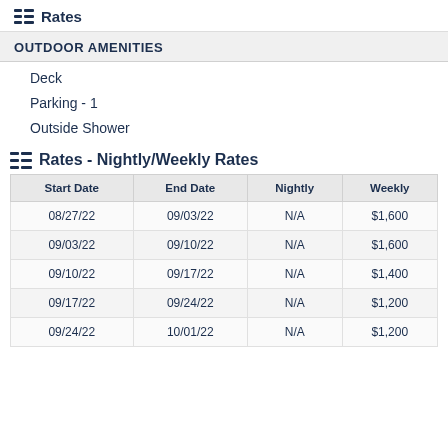Rates
OUTDOOR AMENITIES
Deck
Parking - 1
Outside Shower
Rates - Nightly/Weekly Rates
| Start Date | End Date | Nightly | Weekly |
| --- | --- | --- | --- |
| 08/27/22 | 09/03/22 | N/A | $1,600 |
| 09/03/22 | 09/10/22 | N/A | $1,600 |
| 09/10/22 | 09/17/22 | N/A | $1,400 |
| 09/17/22 | 09/24/22 | N/A | $1,200 |
| 09/24/22 | 10/01/22 | N/A | $1,200 |